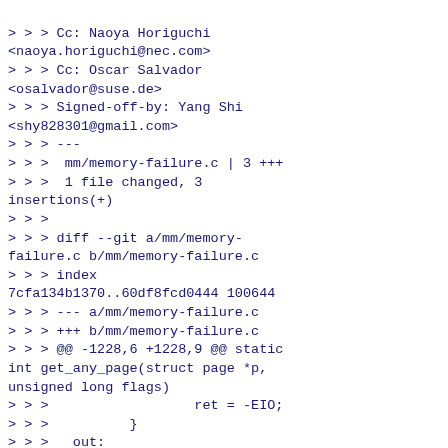<willy@infradead.org>
> > > Cc: Naoya Horiguchi <naoya.horiguchi@nec.com>
> > > Cc: Oscar Salvador <osalvador@suse.de>
> > > Signed-off-by: Yang Shi <shy828301@gmail.com>
> > > ---
> > >  mm/memory-failure.c | 3 +++
> > >  1 file changed, 3 insertions(+)
> > >
> > > diff --git a/mm/memory-failure.c b/mm/memory-failure.c
> > > index 7cfa134b1370..60df8fcd0444 100644
> > > --- a/mm/memory-failure.c
> > > +++ b/mm/memory-failure.c
> > > @@ -1228,6 +1228,9 @@ static int get_any_page(struct page *p, unsigned long flags)
> > >                          ret = -EIO;
> > >          }
> > >   out:
> > > +        if (ret == -EIO)
> > > +                dump_page(p, "hwpoison: unhandlable page");
> > > +
> >
> > I feel that 4 callers of